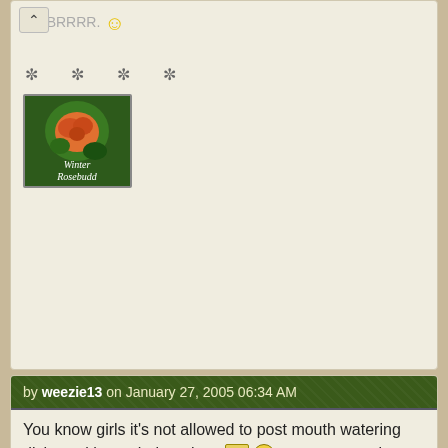...BRRRR. 🙂
[Figure (photo): Avatar image of a rose with text 'Winter Rosebudd' overlaid in italic script]
by weezie13 on January 27, 2005 06:34 AM
You know girls it's not allowed to post mouth watering dishes with out their recipes 🗒😁 so we can make 'em too! 👍😁

Jiffy will be gettin' after you!!!

Get postin' those!
That tortilla soup sounds different
and I love wheat noodles!!!!
They used to have them around here, and must